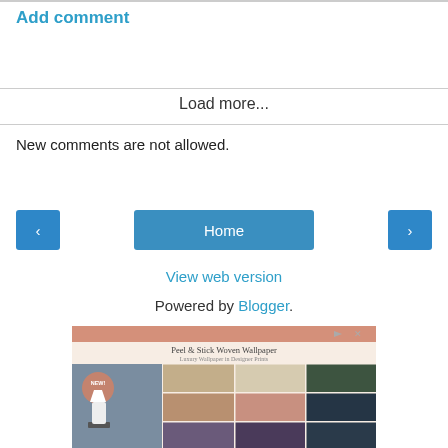Add comment
Load more...
New comments are not allowed.
< Home >
View web version
Powered by Blogger.
[Figure (photo): Advertisement for Peel & Stick Woven Wallpaper showing wallpaper samples in various patterns and colors]